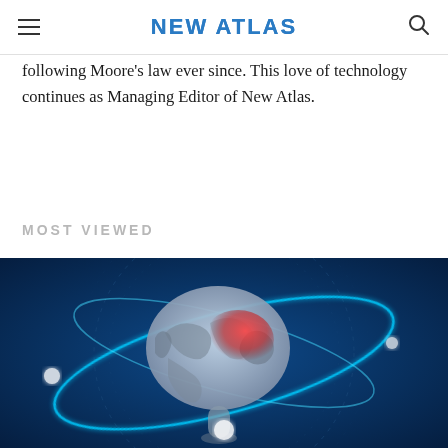NEW ATLAS
following Moore's law ever since. This love of technology continues as Managing Editor of New Atlas.
MOST VIEWED
[Figure (illustration): Digital illustration of a human brain with a red/glowing area on one side, surrounded by glowing blue orbital rings on a dark blue circuit-board background]